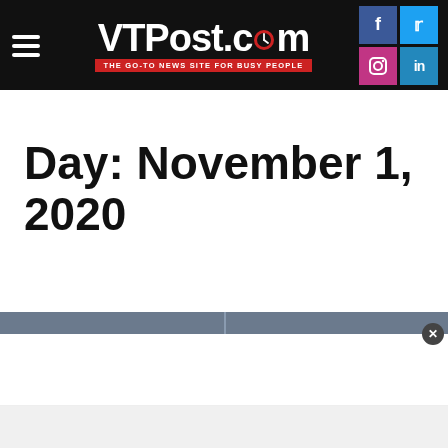VTPost.com — THE GO-TO NEWS SITE FOR BUSY PEOPLE
Day: November 1, 2020